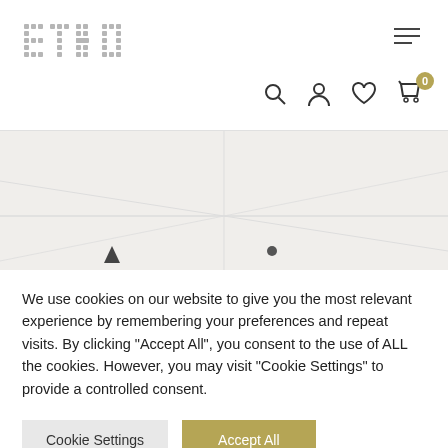[Figure (logo): ETHO logo in grey pixelated/cross-stitch style text]
[Figure (screenshot): Hamburger menu icon (three horizontal lines) in top right corner]
[Figure (screenshot): Navigation icons row: search, user/account, heart/wishlist, shopping cart with 0 badge]
[Figure (map): Partial map area with triangle marker and dot marker visible]
We use cookies on our website to give you the most relevant experience by remembering your preferences and repeat visits. By clicking "Accept All", you consent to the use of ALL the cookies. However, you may visit "Cookie Settings" to provide a controlled consent.
[Figure (screenshot): Cookie Settings button (grey) and Accept All button (gold/tan)]